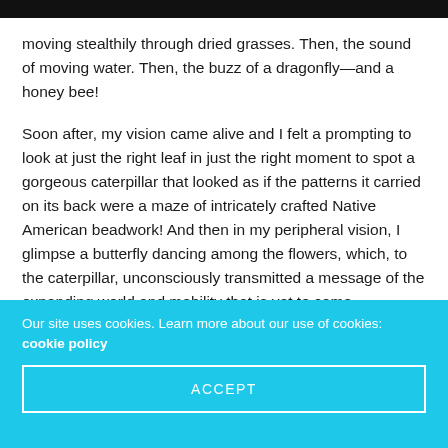moving stealthily through dried grasses. Then, the sound of moving water. Then, the buzz of a dragonfly—and a honey bee!
Soon after, my vision came alive and I felt a prompting to look at just the right leaf in just the right moment to spot a gorgeous caterpillar that looked as if the patterns it carried on its back were a maze of intricately crafted Native American beadwork! And then in my peripheral vision, I glimpse a butterfly dancing among the flowers, which, to the caterpillar, unconsciously transmitted a message of the expanding world and mobility that is yet to come.
Our site uses cookies. Learn more about our use of cookies: cookie policy
ACCEPT